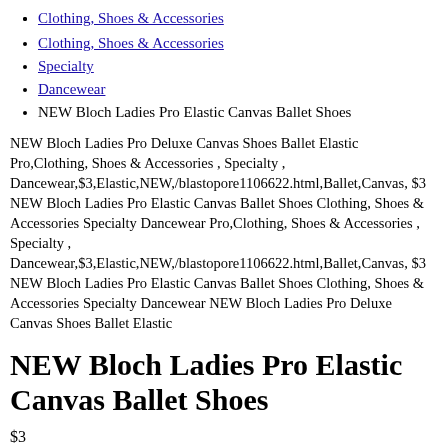Clothing, Shoes & Accessories
Specialty
Dancewear
NEW Bloch Ladies Pro Elastic Canvas Ballet Shoes
NEW Bloch Ladies Pro Deluxe Canvas Shoes Ballet Elastic Pro,Clothing, Shoes & Accessories , Specialty , Dancewear,$3,Elastic,NEW,/blastopore1106622.html,Ballet,Canvas, $3 NEW Bloch Ladies Pro Elastic Canvas Ballet Shoes Clothing, Shoes & Accessories Specialty Dancewear Pro,Clothing, Shoes & Accessories , Specialty , Dancewear,$3,Elastic,NEW,/blastopore1106622.html,Ballet,Canvas, $3 NEW Bloch Ladies Pro Elastic Canvas Ballet Shoes Clothing, Shoes & Accessories Specialty Dancewear NEW Bloch Ladies Pro Deluxe Canvas Shoes Ballet Elastic
NEW Bloch Ladies Pro Elastic Canvas Ballet Shoes
$3